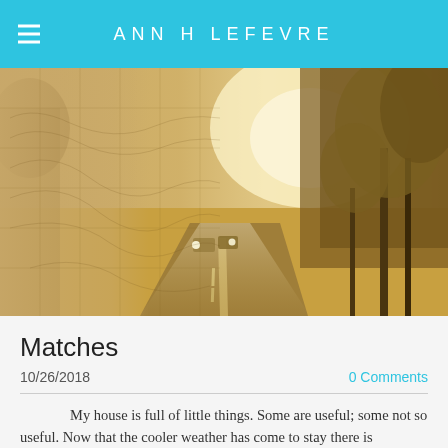ANN H LEFEVRE
[Figure (photo): Sepia-toned photograph of a road through trees with misty light and two cars driving away, overlaid with a faded map texture on the left side.]
Matches
10/26/2018
0 Comments
My house is full of little things.  Some are useful; some not so useful.  Now that the cooler weather has come to stay there is